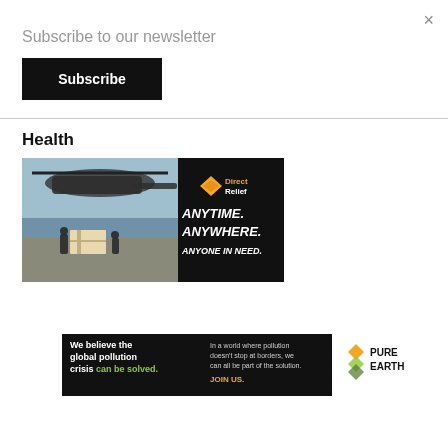×
Subscribe to our newsletter
Subscribe
Health
[Figure (illustration): DirectRelief advertisement banner: left side shows military personnel loading cargo from helicopter on tarmac; right side black background with DirectRelief logo and text ANYTIME. ANYWHERE. ANYONE IN NEED.]
[Figure (illustration): Pure Earth advertisement: black left panel with text 'We believe the global pollution crisis can be solved.' and 'In a world where pollution doesn't stop at borders, we can all be part of the solution. JOIN US.' Right white panel with Pure Earth diamond logo and PURE EARTH text.]